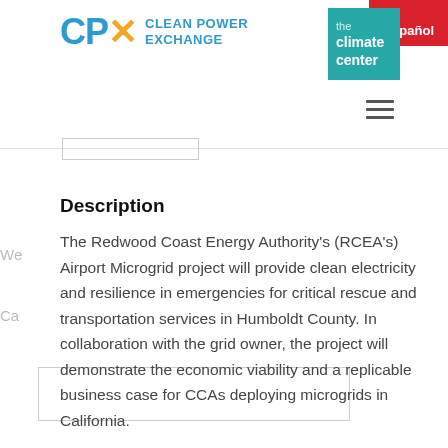En Español
[Figure (logo): CPX Clean Power Exchange logo with colorful X mark and teal/blue lettering, alongside The Climate Center teal square logo]
Description
The Redwood Coast Energy Authority's (RCEA's) Airport Microgrid project will provide clean electricity and resilience in emergencies for critical rescue and transportation services in Humboldt County. In collaboration with the grid owner, the project will demonstrate the economic viability and a replicable business case for CCAs deploying microgrids in California.